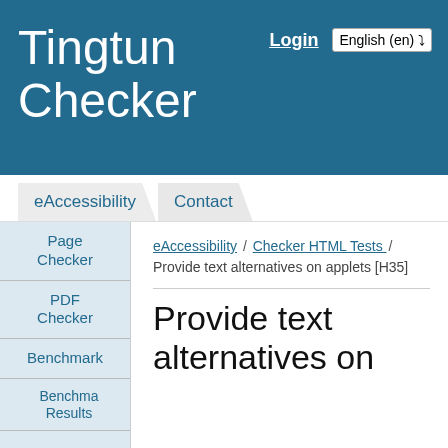Tingtun Checker
Login  English (en)
eAccessibility   Contact
Page Checker
PDF Checker
Benchmark
Benchma Results
eAccessibility / Checker HTML Tests / Provide text alternatives on applets [H35]
Provide text alternatives on applets [H35]